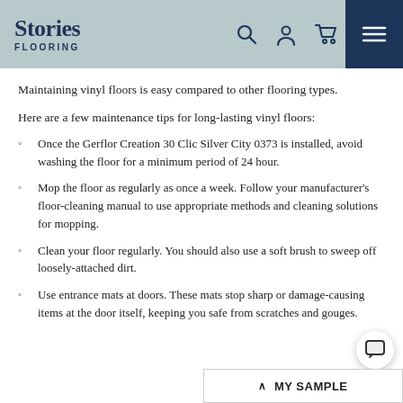Stories Flooring
Maintaining vinyl floors is easy compared to other flooring types.
Here are a few maintenance tips for long-lasting vinyl floors:
Once the Gerflor Creation 30 Clic Silver City 0373 is installed, avoid washing the floor for a minimum period of 24 hour.
Mop the floor as regularly as once a week. Follow your manufacturer's floor-cleaning manual to use appropriate methods and cleaning solutions for mopping.
Clean your floor regularly. You should also use a soft brush to sweep off loosely-attached dirt.
Use entrance mats at doors. These mats stop sharp or damage-causing items at the door itself, keeping you safe from scratches and gouges.